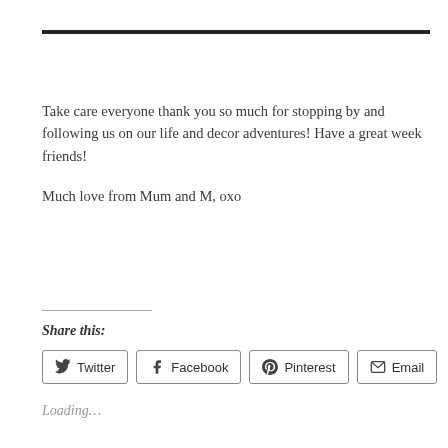Take care everyone thank you so much for stopping by and following us on our life and decor adventures!  Have a great week friends!

Much love from Mum and M, oxo
Share this:
Loading…